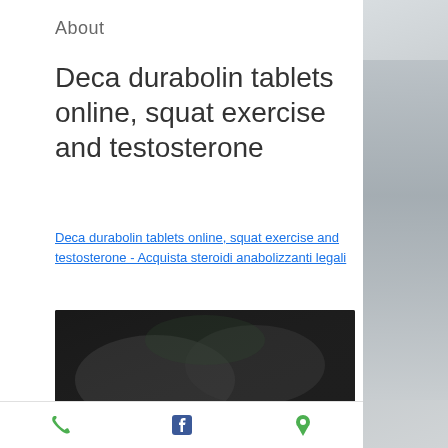About
Deca durabolin tablets online, squat exercise and testosterone
Deca durabolin tablets online, squat exercise and testosterone - Acquista steroidi anabolizzanti legali
[Figure (photo): Blurred dark image, appears to be a product or fitness related photo]
Phone | Facebook | Location icons